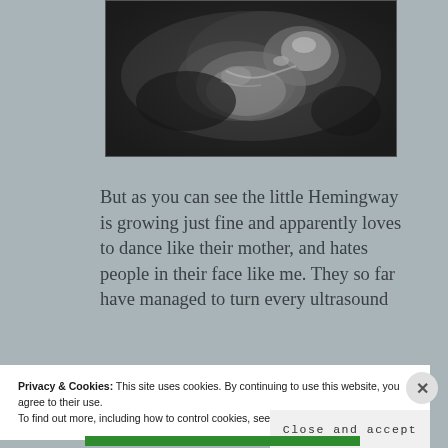[Figure (photo): Ultrasound image of a fetus, black and white sonogram showing fetal profile]
But as you can see the little Hemingway is growing just fine and apparently loves to dance like their mother, and hates people in their face like me. They so far have managed to turn every ultrasound
Privacy & Cookies: This site uses cookies. By continuing to use this website, you agree to their use.
To find out more, including how to control cookies, see here: Cookie Policy
Close and accept